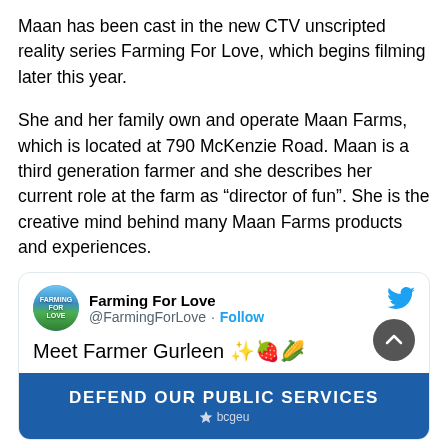Maan has been cast in the new CTV unscripted reality series Farming For Love, which begins filming later this year.
She and her family own and operate Maan Farms, which is located at 790 McKenzie Road. Maan is a third generation farmer and she describes her current role at the farm as “director of fun”. She is the creative mind behind many Maan Farms products and experiences.
[Figure (screenshot): Tweet card from @FarmingForLove with Twitter bird icon, avatar showing Farming For Love logo, account name 'Farming For Love', handle '@FarmingForLove', Follow link, and tweet text 'Meet Farmer Gurleen ✨🍓🌽']
[Figure (other): Blue advertisement banner reading 'DEFEND OUR PUBLIC SERVICES' with bcgeu star logo]